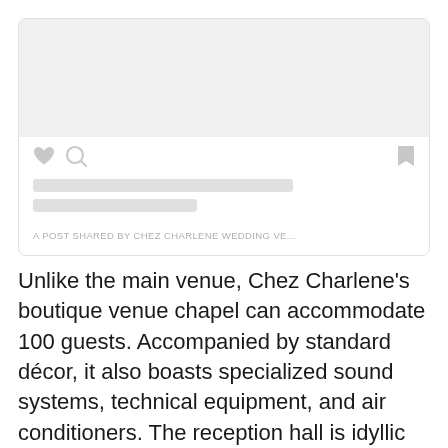[Figure (screenshot): A social media post card with a light gray image placeholder at the top, heart and comment icons on the left, bookmark icon on the right, two gray loading bars for text, and a footer attribution line reading 'A POST SHARED BY CHEZ CHARLENE WEDDING VE...']
Unlike the main venue, Chez Charlene's boutique venue chapel can accommodate 100 guests. Accompanied by standard décor, it also boasts specialized sound systems, technical equipment, and air conditioners. The reception hall is idyllic for a small wedding as it can only accommodate a